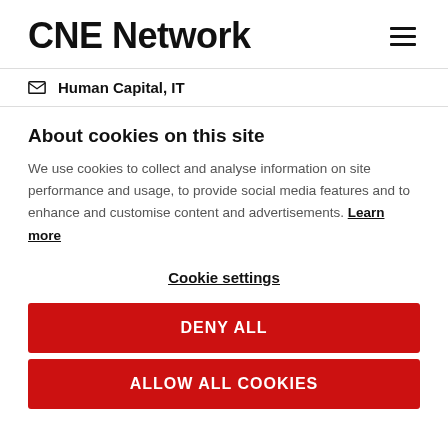CNE Network
Human Capital, IT
About cookies on this site
We use cookies to collect and analyse information on site performance and usage, to provide social media features and to enhance and customise content and advertisements. Learn more
Cookie settings
DENY ALL
ALLOW ALL COOKIES